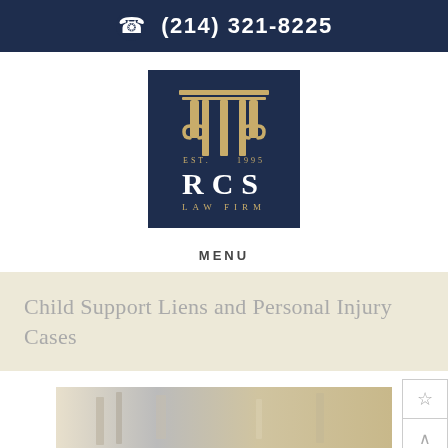(214) 321-8225
[Figure (logo): RCS Law Firm logo — dark navy square with gold pillar/column graphic at top, EST. 1995 in gold, RCS in large white serif letters, LAW FIRM in gold small caps below]
MENU
Child Support Liens and Personal Injury Cases
[Figure (photo): Blurred photo of a legal/office setting, partially visible at bottom of page]